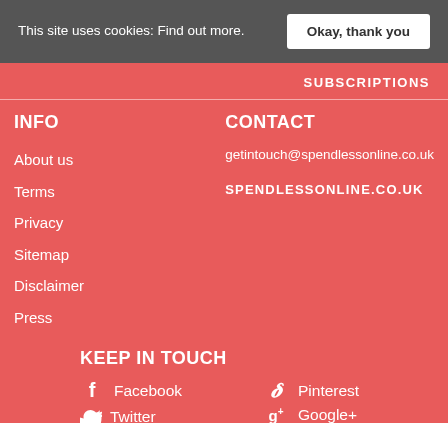This site uses cookies: Find out more.
Okay, thank you
SUBSCRIPTIONS
INFO
About us
Terms
Privacy
Sitemap
Disclaimer
Press
CONTACT
getintouch@spendlessonline.co.uk
SPENDLESSONLINE.CO.UK
KEEP IN TOUCH
Facebook
Pinterest
Twitter
Google+